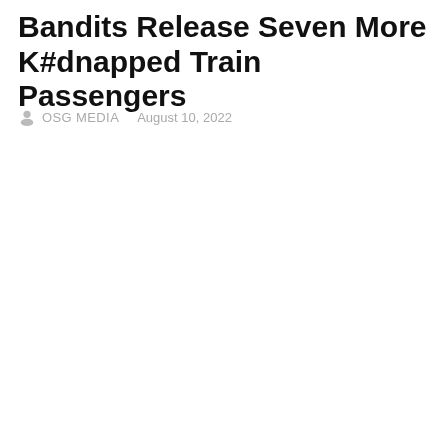Bandits Release Seven More K#dnapped Train Passengers
OSG MEDIA   August 10, 2022